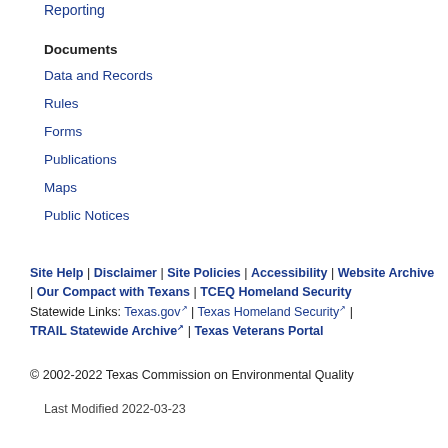Reporting
Documents
Data and Records
Rules
Forms
Publications
Maps
Public Notices
Site Help | Disclaimer | Site Policies | Accessibility | Website Archive | Our Compact with Texans | TCEQ Homeland Security Statewide Links: Texas.gov | Texas Homeland Security | TRAIL Statewide Archive | Texas Veterans Portal
© 2002-2022 Texas Commission on Environmental Quality
Last Modified 2022-03-23